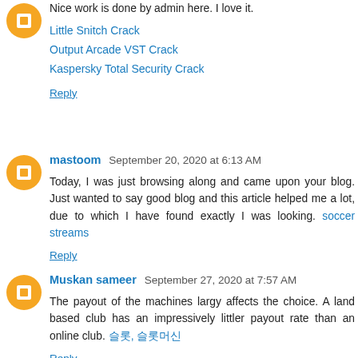Nice work is done by admin here. I love it.
Little Snitch Crack
Output Arcade VST Crack
Kaspersky Total Security Crack
Reply
mastoom  September 20, 2020 at 6:13 AM
Today, I was just browsing along and came upon your blog. Just wanted to say good blog and this article helped me a lot, due to which I have found exactly I was looking. soccer streams
Reply
Muskan sameer  September 27, 2020 at 7:57 AM
The payout of the machines largy affects the choice. A land based club has an impressively littler payout rate than an online club. 슬롯, 슬롯머신
Reply